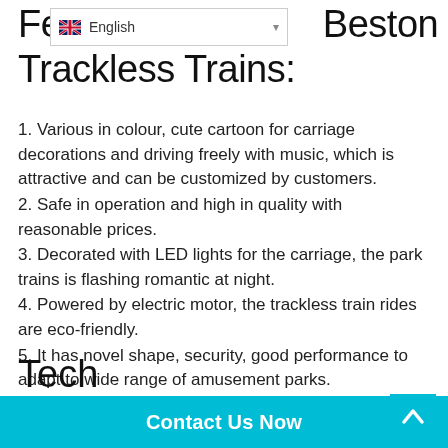Features of Beston Trackless Trains:
1. Various in colour, cute cartoon for carriage decorations and driving freely with music, which is attractive and can be customized by customers.
2. Safe in operation and high in quality with reasonable prices.
3. Decorated with LED lights for the carriage, the park trains is flashing romantic at night.
4. Powered by electric motor, the trackless train rides are eco-friendly.
5. It has novel shape, security, good performance to adapt to wide range of amusement parks.
6. Beston amusement park trains for sale have a longer service life.
Tech
Contact Us Now